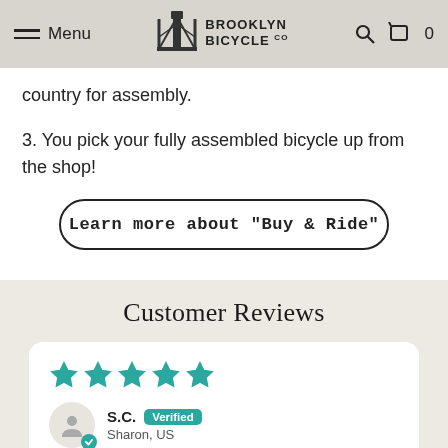Menu | Brooklyn Bicycle Co. | Search | Cart 0
country for assembly.
3. You pick your fully assembled bicycle up from the shop!
Learn more about "Buy & Ride"
Customer Reviews
S.C. Verified Sharon, US
Love my Lorimer